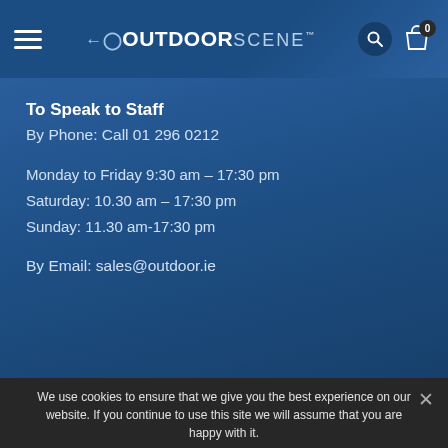OutdoorScene
To Speak to Staff
By Phone: Call 01 296 0212
Monday to Friday 9:30 am – 17:30 pm
Saturday: 10.30 am – 17:30 pm
Sunday: 11.30 am-17:30 pm
By Email: sales@outdoor.ie
We use cookies to ensure that we give you the best experience on our website. If you continue to use this site we will assume that you are happy with it.